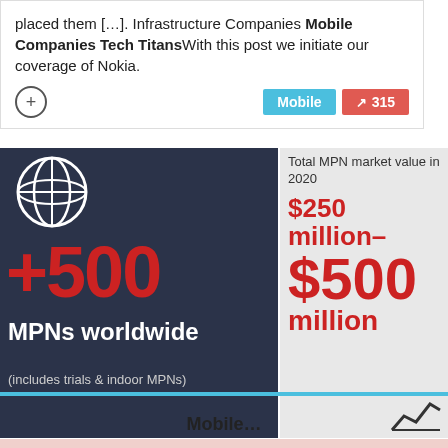placed them [...]. Infrastructure Companies Mobile Companies Tech TitansWith this post we initiate our coverage of Nokia.
Mobile | ↗ 315
[Figure (infographic): Infographic showing +500 MPNs worldwide (includes trials & indoor MPNs) on dark navy background with globe icon, and Total MPN market value in 2020 $250 million–$500 million on grey background with line chart icon]
Average value of deals
$500,000
Mobile…